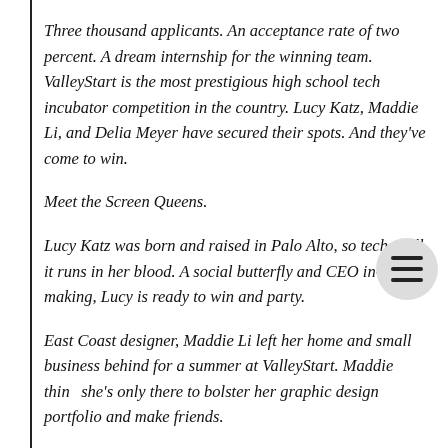Three thousand applicants. An acceptance rate of two percent. A dream internship for the winning team. ValleyStart is the most prestigious high school tech incubator competition in the country. Lucy Katz, Maddie Li, and Delia Meyer have secured their spots. And they've come to win.
Meet the Screen Queens.
Lucy Katz was born and raised in Palo Alto, so tech, well, it runs in her blood. A social butterfly and CEO in-the-making, Lucy is ready to win and party.
East Coast designer, Maddie Li left her home and small business behind for a summer at ValleyStart. Maddie thinks she's only there to bolster her graphic design portfolio and make friends.
Delia Meyer taught herself how to code on a hand-me-down computer in her tiny Midwestern town. Now, it's time for the big leagues. ValleyStart, but someone shy Delia isn't sure if she